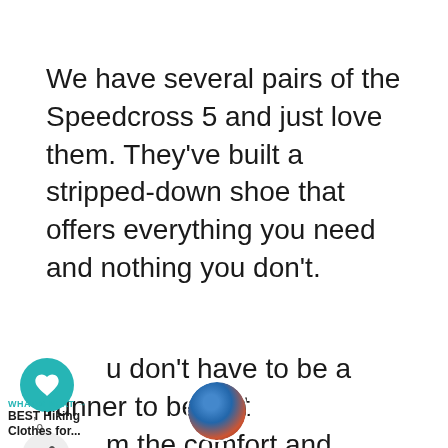We have several pairs of the Speedcross 5 and just love them. They've built a stripped-down shoe that offers everything you need and nothing you don't.
You don't have to be a runner to benefit from the comfort and capabilities of these shoes. I've watched others slip and slide in muddy/icy trail conditions and breeze by them. I'll have the next pair in the closet before I even
[Figure (screenshot): Social media floating action buttons overlay on left side: teal heart/like button, share count '9', share icon button. Below: 'WHAT'S NEXT' label with arrow, 'BEST Hiking Clothes for...' text, and a circular thumbnail image of a hiker.]